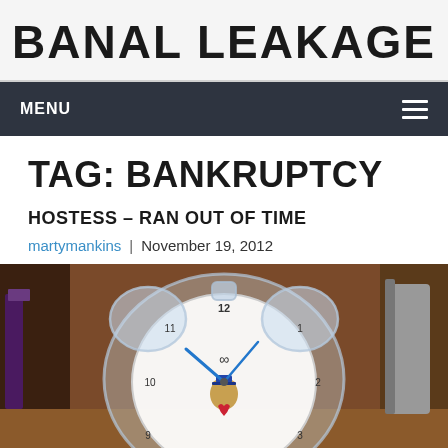BANAL LEAKAGE
MENU
TAG: BANKRUPTCY
HOSTESS – RAN OUT OF TIME
martymankins | November 19, 2012
[Figure (photo): A transparent plastic alarm clock with twin bells on top, featuring a cartoon bear figurine on the clock face. The clock shows approximately 10:10. Photographed on a wooden surface with books and objects in the background.]